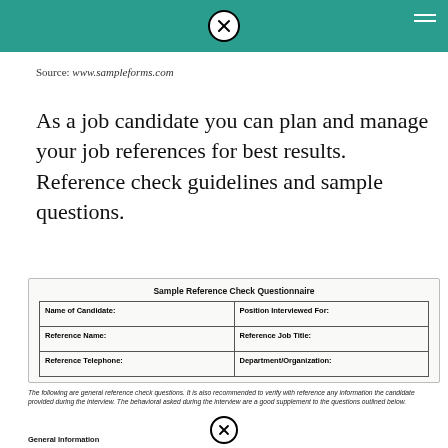Source: www.sampleforms.com
As a job candidate you can plan and manage your job references for best results. Reference check guidelines and sample questions.
| Name of Candidate: | Position Interviewed For: |
| Reference Name: | Reference Job Title: |
| Reference Telephone: | Department/Organization: |
The following are general reference check questions. It is also recommended to verify with reference any information the candidate provided during the interview. The behavioral asked during the interview are a good supplement to the questions outlined below.
General Information